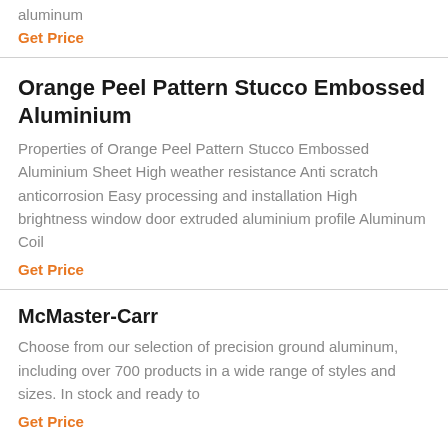aluminum
Get Price
Orange Peel Pattern Stucco Embossed Aluminium
Properties of Orange Peel Pattern Stucco Embossed Aluminium Sheet High weather resistance Anti scratch anticorrosion Easy processing and installation High brightness window door extruded aluminium profile Aluminum Coil
Get Price
McMaster-Carr
Choose from our selection of precision ground aluminum, including over 700 products in a wide range of styles and sizes. In stock and ready to
Get Price